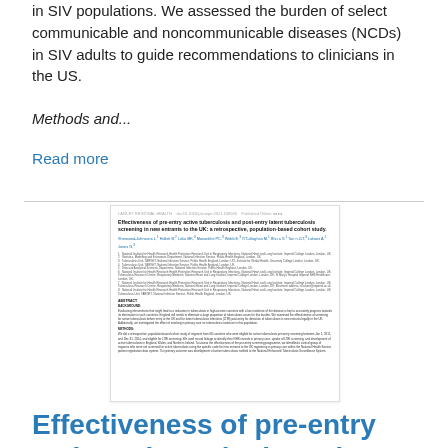in SIV populations. We assessed the burden of select communicable and noncommunicable diseases (NCDs) in SIV adults to guide recommendations to clinicians in the US.
Methods and...
Read more
[Figure (screenshot): Thumbnail of a medical journal article: 'Effectiveness of pre-entry active tuberculosis and post-entry latent tuberculosis screening in new entrants to the UK: a retrospective, population-based cohort study.' Shows title, authors, affiliations, and abstract sections (Background and Methods).]
Effectiveness of pre-entry active tuberculosis and post-entry latent tuberculosis